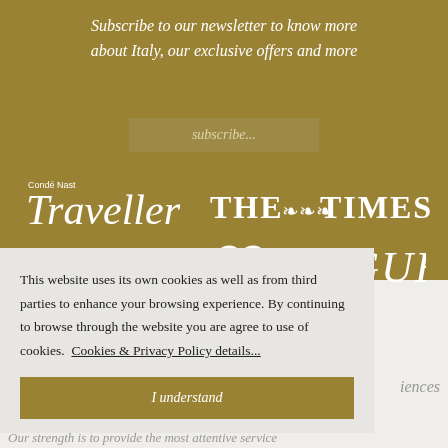Subscribe to our newsletter to know more about Italy, our exclusive offers and more
subscribe...
[Figure (logo): Condé Nast Traveller logo in white]
[Figure (logo): The Times logo in white]
[Figure (logo): FlipKey logo in white]
[Figure (logo): TripAdvisor logo in white]
[Figure (logo): Vogue logo in white]
This website uses its own cookies as well as from third parties to enhance your browsing experience. By continuing to browse through the website you are agree to use of cookies.  Cookies & Privacy Policy details...
I understand
iences
Our strength is to provide the most attentive service